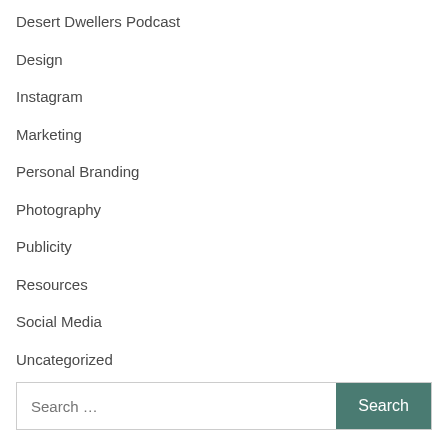Desert Dwellers Podcast
Design
Instagram
Marketing
Personal Branding
Photography
Publicity
Resources
Social Media
Uncategorized